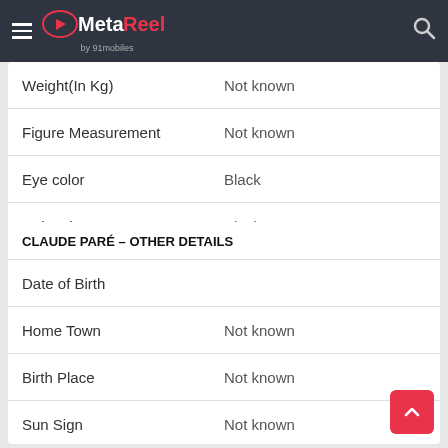MetaReel by 91mobiles
| Attribute | Value |
| --- | --- |
| Weight(In Kg) | Not known |
| Figure Measurement | Not known |
| Eye color | Black |
| Hair color | Black |
CLAUDE PARÉ – OTHER DETAILS
| Attribute | Value |
| --- | --- |
| Date of Birth |  |
| Home Town | Not known |
| Birth Place | Not known |
| Sun Sign | Not known |
| Nationality |  |
| College | Not known |
| Education Qualification | Not known |